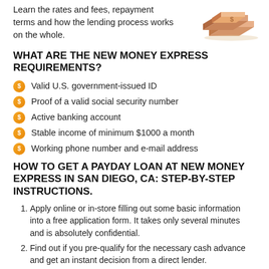[Figure (illustration): 3D isometric illustration of stacked books or documents with a dollar sign, orange and beige tones, partially visible at top right corner]
Learn the rates and fees, repayment terms and how the lending process works on the whole.
WHAT ARE THE NEW MONEY EXPRESS REQUIREMENTS?
Valid U.S. government-issued ID
Proof of a valid social security number
Active banking account
Stable income of minimum $1000 a month
Working phone number and e-mail address
HOW TO GET A PAYDAY LOAN AT NEW MONEY EXPRESS IN SAN DIEGO, CA: STEP-BY-STEP INSTRUCTIONS.
Apply online or in-store filling out some basic information into a free application form. It takes only several minutes and is absolutely confidential.
Find out if you pre-qualify for the necessary cash advance and get an instant decision from a direct lender.